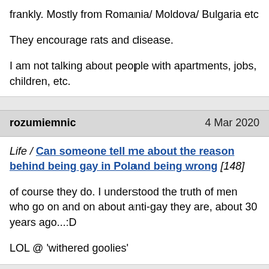frankly. Mostly from Romania/ Moldova/ Bulgaria etc

They encourage rats and disease.

I am not talking about people with apartments, jobs, children, etc.
rozumiemnic    4 Mar 2020
Life / Can someone tell me about the reason behind being gay in Poland being wrong [148]

of course they do. I understood the truth of men who go on and on about anti-gay they are, about 30 years ago...:D

LOL @ 'withered goolies'
rozumiemnic    4 Mar 2020